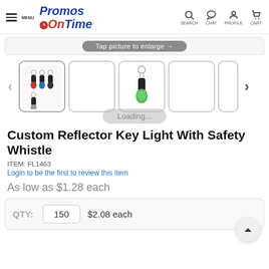Promos OnTime — MENU, SEARCH, CHAT, PROFILE, CART
Tap picture to enlarge →
[Figure (screenshot): Thumbnail gallery of Custom Reflector Key Light With Safety Whistle product images. First thumbnail is selected and shows multiple key lights in red, blue, grey, black. Third thumbnail shows a single green key light on a keyring.]
Loading...
Custom Reflector Key Light With Safety Whistle
ITEM: FL1463
Login to be the first to review this item
As low as $1.28 each
| QTY: | Quantity | Price |
| --- | --- | --- |
| QTY: | 150 | $2.08 each |